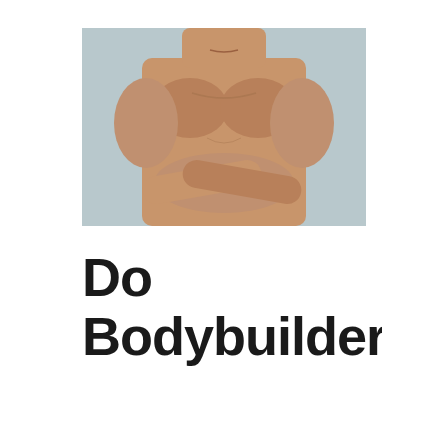[Figure (photo): A muscular shirtless man with arms crossed, photographed against a light grey background, showing developed chest and arm muscles.]
Do Bodybuilders